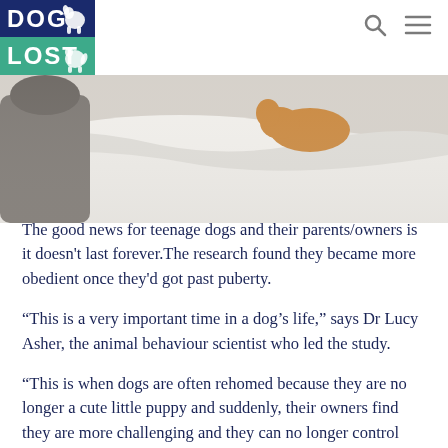DOG LOST
[Figure (photo): A dog lying on a bed with white sheets, partially visible person in background]
The good news for teenage dogs and their parents/owners is it doesn't last forever.The research found they became more obedient once they'd got past puberty.
“This is a very important time in a dog’s life,” says Dr Lucy Asher, the animal behaviour scientist who led the study.
“This is when dogs are often rehomed because they are no longer a cute little puppy and suddenly, their owners find they are more challenging and they can no longer control them or train them. But as with human teenage children, owners need to be aware that their dog is going through a phase and it will pass.”
So what should you do if you find yourself with a moody